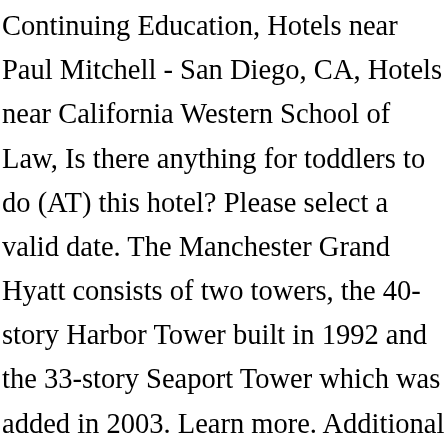Continuing Education, Hotels near Paul Mitchell - San Diego, CA, Hotels near California Western School of Law, Is there anything for toddlers to do (AT) this hotel? Please select a valid date. The Manchester Grand Hyatt consists of two towers, the 40-story Harbor Tower built in 1992 and the 33-story Seaport Tower which was added in 2003. Learn more. Additional amenities include built-in TVs, filtered water, towels and headphones. Link. You will also find a 20-meter indoor temperature – controlled pool, with underwater music speakers.